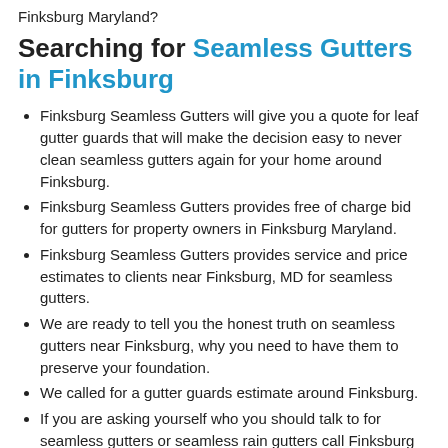Finksburg Maryland?
Searching for Seamless Gutters in Finksburg
Finksburg Seamless Gutters will give you a quote for leaf gutter guards that will make the decision easy to never clean seamless gutters again for your home around Finksburg.
Finksburg Seamless Gutters provides free of charge bid for gutters for property owners in Finksburg Maryland.
Finksburg Seamless Gutters provides service and price estimates to clients near Finksburg, MD for seamless gutters.
We are ready to tell you the honest truth on seamless gutters near Finksburg, why you need to have them to preserve your foundation.
We called for a gutter guards estimate around Finksburg.
If you are asking yourself who you should talk to for seamless gutters or seamless rain gutters call Finksburg Seamless Gutters for a quote now.
Do you like cleaning your gutters at your home near Finksburg Get gutter leaf guards installed and you will hardly ever have to clean your gutters again.
Are you irritated when you step outside and you get rained on from your rooftop? It's time to contact for seamless gutters or